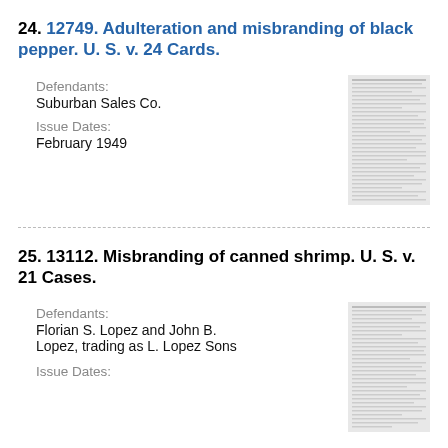24. 12749. Adulteration and misbranding of black pepper. U. S. v. 24 Cards.
Defendants:
Suburban Sales Co.
Issue Dates:
February 1949
[Figure (photo): Thumbnail image of a legal document page with dense text]
25. 13112. Misbranding of canned shrimp. U. S. v. 21 Cases.
Defendants:
Florian S. Lopez and John B. Lopez, trading as L. Lopez Sons
Issue Dates:
[Figure (photo): Thumbnail image of a legal document page with dense text]